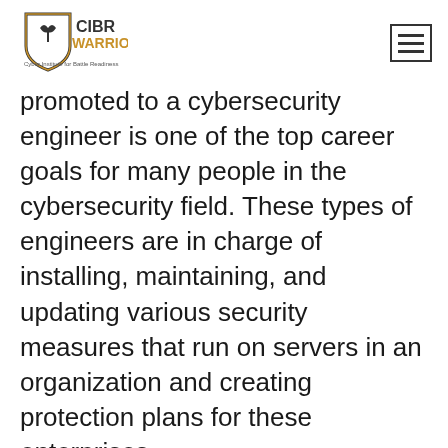CIBR WARRIORS — Cyber Institute for Battle Readiness
promoted to a cybersecurity engineer is one of the top career goals for many people in the cybersecurity field. These types of engineers are in charge of installing, maintaining, and updating various security measures that run on servers in an organization and creating protection plans for these enterprises.
What skills do you need, and what should you focus on if you want to be promoted? Ready to start? Contact CIBR Warriors for the fastest way to a better position in IT!